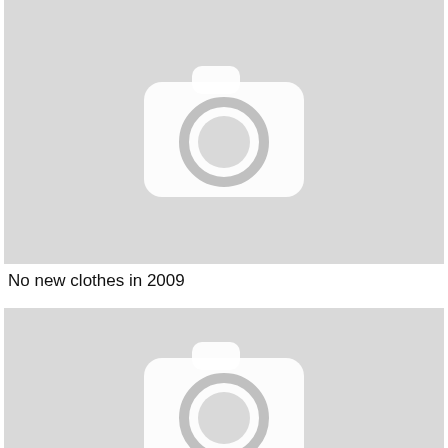[Figure (photo): Placeholder image with camera icon on grey background]
No new clothes in 2009
[Figure (photo): Placeholder image with camera icon on grey background]